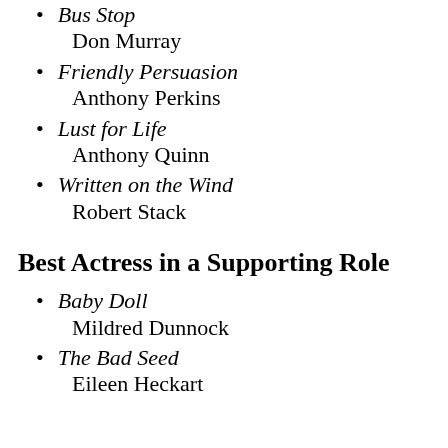Bus Stop
Don Murray
Friendly Persuasion
Anthony Perkins
Lust for Life
Anthony Quinn
Written on the Wind
Robert Stack
Best Actress in a Supporting Role
Baby Doll
Mildred Dunnock
The Bad Seed
Eileen Heckart